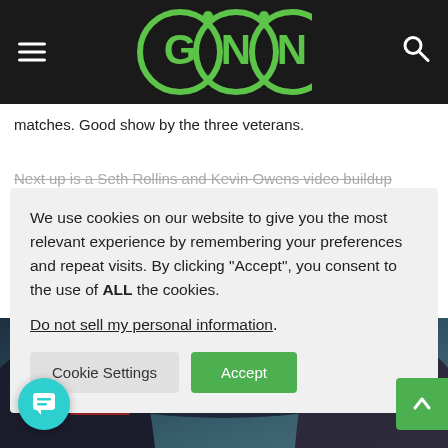GNN
matches. Good show by the three veterans.
Next up is a Seth Rollins and Kevin Owens video buildup
We use cookies on our website to give you the most relevant experience by remembering your preferences and repeat visits. By clicking “Accept”, you consent to the use of ALL the cookies. Do not sell my personal information.
[Figure (photo): Two wrestlers photographed from behind showing tattoos and athletic gear, teal/blue smoky background]